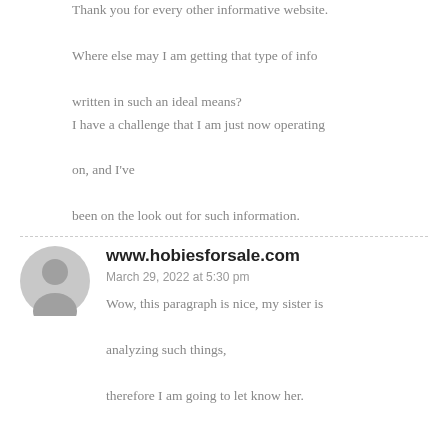Thank you for every other informative website. Where else may I am getting that type of info written in such an ideal means? I have a challenge that I am just now operating on, and I've been on the look out for such information.
www.hobiesforsale.com
March 29, 2022 at 5:30 pm
Wow, this paragraph is nice, my sister is analyzing such things, therefore I am going to let know her.